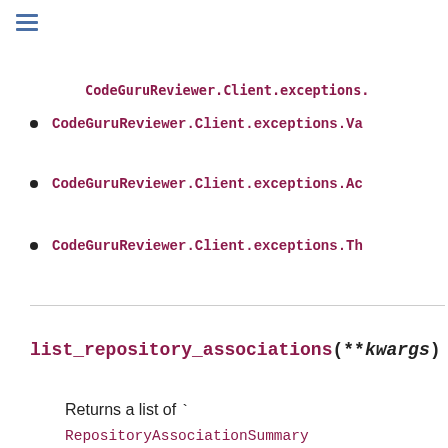CodeGuruReviewer.Client.exceptions.Va...
CodeGuruReviewer.Client.exceptions.Ac...
CodeGuruReviewer.Client.exceptions.Th...
list_repository_associations(**kwargs)
Returns a list of ` RepositoryAssociationSummary https://docs.aws.amazon.com/codeguru/latest/r...api/API_RepositoryAssociationSummary.html `__ objects that contain summary information about a repository association. You can filter the returned list by ` ProviderType https://docs.aws.amazon.com/codeguru/latest/r...api/API_RepositoryAssociationSummary.html#re...Type-RepositoryAssociationSummary-ProviderType `__ , ` Name https://docs.aws.amazon.com/codeguru/latest/...